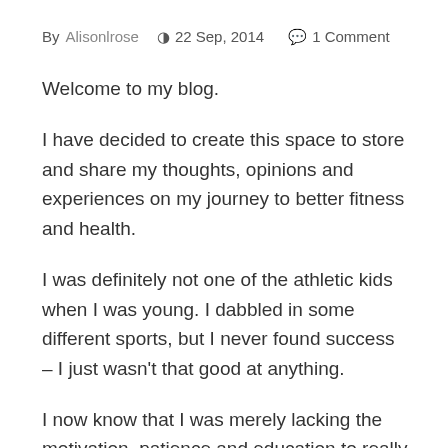By Alisonlrose  22 Sep, 2014  1 Comment
Welcome to my blog.
I have decided to create this space to store and share my thoughts, opinions and experiences on my journey to better fitness and health.
I was definitely not one of the athletic kids when I was young. I dabbled in some different sports, but I never found success – I just wasn't that good at anything.
I now know that I was merely lacking the motivation, patience and education to really succeed. I was trying to run before I could walk.